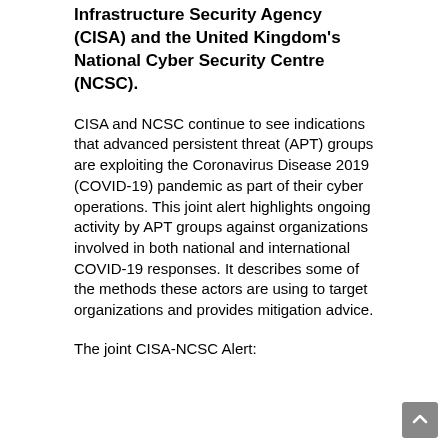Infrastructure Security Agency (CISA) and the United Kingdom's National Cyber Security Centre (NCSC).
CISA and NCSC continue to see indications that advanced persistent threat (APT) groups are exploiting the Coronavirus Disease 2019 (COVID-19) pandemic as part of their cyber operations. This joint alert highlights ongoing activity by APT groups against organizations involved in both national and international COVID-19 responses. It describes some of the methods these actors are using to target organizations and provides mitigation advice.
The joint CISA-NCSC Alert: